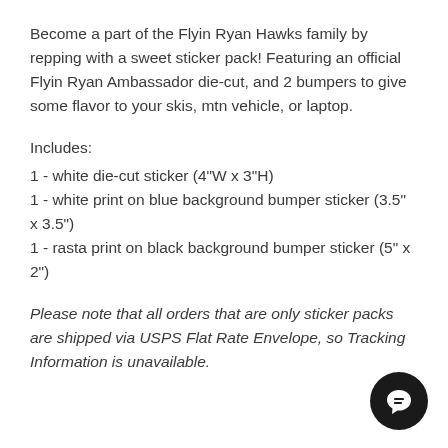Become a part of the Flyin Ryan Hawks family by repping with a sweet sticker pack!  Featuring an official Flyin Ryan Ambassador die-cut, and 2 bumpers to give some flavor to your skis, mtn vehicle, or laptop.
Includes:
1 - white die-cut sticker (4"W x 3"H)
1 - white print on blue background bumper sticker (3.5" x 3.5")
1 - rasta print on black background bumper sticker (5" x 2")
Please note that all orders that are only sticker packs are shipped via USPS Flat Rate Envelope, so Tracking Information is unavailable.